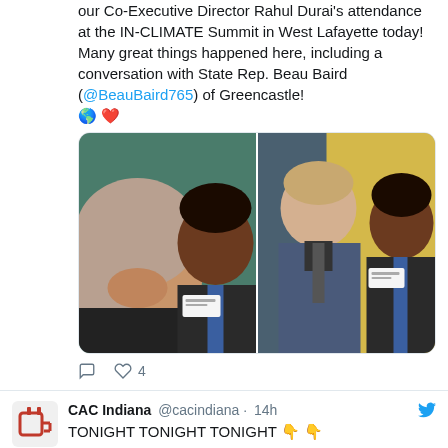our Co-Executive Director Rahul Durai's attendance at the IN-CLIMATE Summit in West Lafayette today! Many great things happened here, including a conversation with State Rep. Beau Baird (@BeauBaird765) of Greencastle! 🌎 ❤️
[Figure (photo): Two side-by-side photos: left photo shows a woman and a man (Rahul Durai) in a selfie pose; right photo shows a tall man in a suit and Rahul Durai standing together indoors.]
♡   ♡ 4
CAC Indiana @cacindiana · 14h
TONIGHT TONIGHT TONIGHT 👇 👇
Ben Jackson @Ben_Jackson · 18h